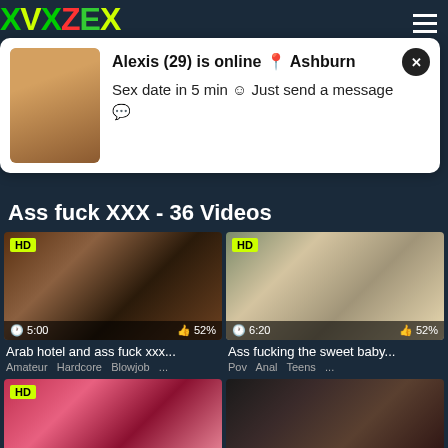[Figure (screenshot): Adult video website header with green/yellow/red logo text 'XVXZEX']
Alexis (29) is online 📍 Ashburn
Sex date in 5 min 😊 Just send a message 💬
Ass fuck XXX - 36 Videos
[Figure (screenshot): Video thumbnail HD - Arab hotel and ass fuck xxx... - 5:00 duration, 52% rating]
Arab hotel and ass fuck xxx...
Amateur  Hardcore  Blowjob  ...
[Figure (screenshot): Video thumbnail HD - Ass fucking the sweet baby... - 6:20 duration, 52% rating]
Ass fucking the sweet baby...
Pov  Anal  Teens  ...
[Figure (screenshot): Video thumbnail HD - bottom left video]
[Figure (screenshot): Video thumbnail - bottom right video]